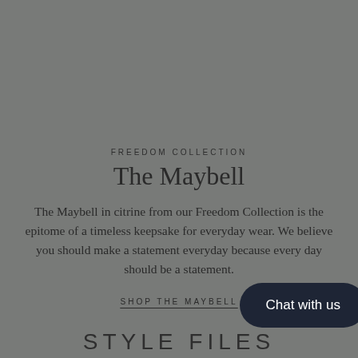FREEDOM COLLECTION
The Maybell
The Maybell in citrine from our Freedom Collection is the epitome of a timeless keepsake for everyday wear. We believe you should make a statement everyday because every day should be a statement.
SHOP THE MAYBELL
STYLE FILES